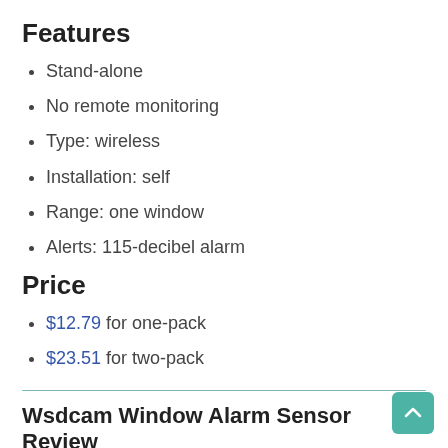Features
Stand-alone
No remote monitoring
Type: wireless
Installation: self
Range: one window
Alerts: 115-decibel alarm
Price
$12.79 for one-pack
$23.51 for two-pack
Wsdcam Window Alarm Sensor Review